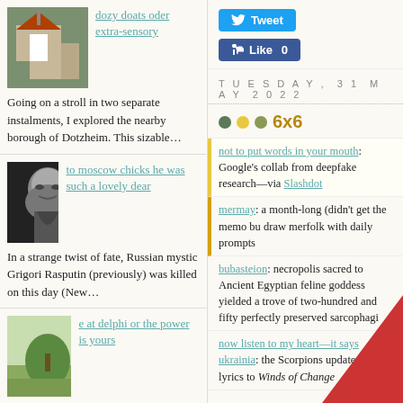[Figure (photo): Photo of a church building]
dozy doats oder extra-sensory
Going on a stroll in two separate instalments, I explored the nearby borough of Dotzheim. This sizable…
[Figure (photo): Black and white photo of Grigori Rasputin]
to moscow chicks he was such a lovely dear
In a strange twist of fate, Russian mystic Grigori Rasputin (previously) was killed on this day (New…
[Figure (photo): Painting of a landscape with a green hill]
e at delphi or the power is yours
According to legend, the …
[Figure (screenshot): Tweet button (blue) and Like 0 button (blue Facebook)]
TUESDAY, 31 MAY 2022
6x6
not to put words in your mouth: Google's collab from deepfake research—via Slashdot
mermay: a month-long (didn't get the memo bu draw merfolk with daily prompts
bubasteion: necropolis sacred to Ancient Egyptian feline goddess yielded a trove of two-hundred and fifty perfectly preserved sarcophagi
now listen to my heart—it says ukrainia: the Scorpions update their lyrics to Winds of Change